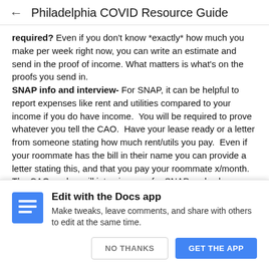Philadelphia COVID Resource Guide
required? Even if you don't know *exactly* how much you make per week right now, you can write an estimate and send in the proof of income. What matters is what's on the proofs you send in. SNAP info and interview- For SNAP, it can be helpful to report expenses like rent and utilities compared to your income if you do have income.  You will be required to prove whatever you tell the CAO.  Have your lease ready or a letter from someone stating how much rent/utils you pay.  Even if your roommate has the bill in their name you can provide a letter stating this, and that you pay your roommate x/month.  The CAO worker will interview you for SNAP and ask some of the same questions on the phone.  They will call you on the phone within 48 hrs-
[Figure (logo): Google Docs app icon — blue document icon with white lines]
Edit with the Docs app
Make tweaks, leave comments, and share with others to edit at the same time.
NO THANKS    GET THE APP